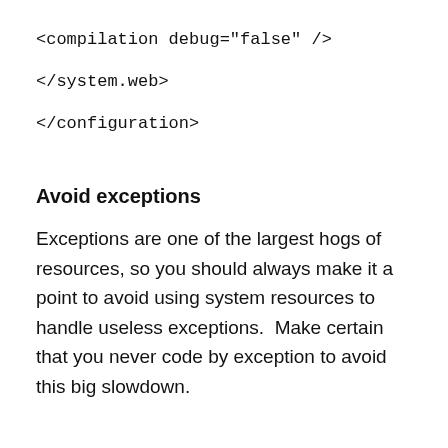<compilation debug="false" />
</system.web>
</configuration>
Avoid exceptions
Exceptions are one of the largest hogs of resources, so you should always make it a point to avoid using system resources to handle useless exceptions.  Make certain that you never code by exception to avoid this big slowdown.